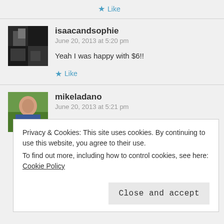Like
isaacandsophie
June 20, 2013 at 5:20 pm

Yeah I was happy with $6!!
Like
mikeladano
June 20, 2013 at 5:21 pm

I paid $12 for the cassette in 1992 :)
Privacy & Cookies: This site uses cookies. By continuing to use this website, you agree to their use.
To find out more, including how to control cookies, see here: Cookie Policy
Close and accept
redundant.